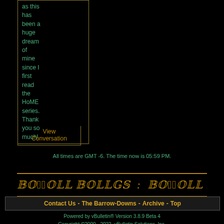as this has been a huge dream of mine since I first read the HoME series. Thank you so much!
View Conversation
All times are GMT -6. The time now is 05:59 PM.
[Figure (other): Decorative banner with stylized fantasy script text in gold color on black background with gold border lines]
Contact Us - The Barrow-Downs - Archive - Top
Powered by vBulletin® Version 3.8.9 Beta 4
Copyright ©2000 - 2022, vBulletin Solutions, Inc.